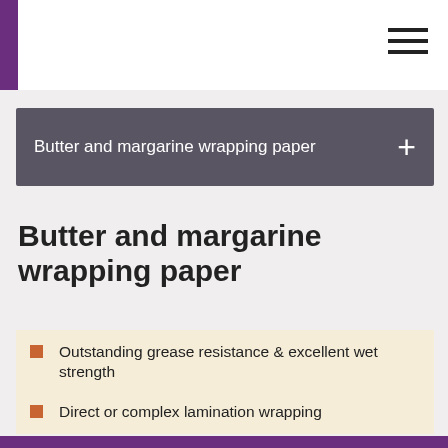Butter and margarine wrapping paper
Butter and margarine wrapping paper
Outstanding grease resistance & excellent wet strength
Direct or complex lamination wrapping
By clicking “Accept All Cookies”, you agree to the storing of cookies on your device to enhance site navigation, analyze site usage, and assist in our marketing efforts. Privacy